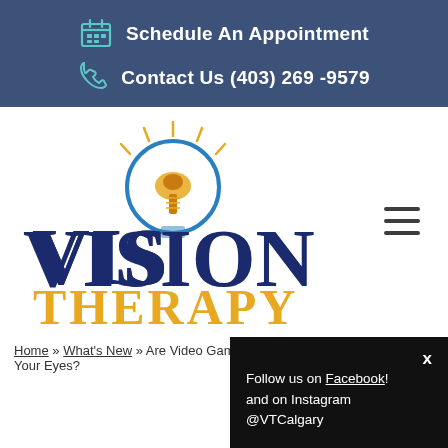Schedule An Appointment
Contact Us (403) 269 -9579
[Figure (logo): Vision Therapy logo with light bulb and text VISION THERAPY]
Home » What's New » Are Video Gam... Your Eyes?
Follow us on Facebook! and on Instagram @VTCalgary